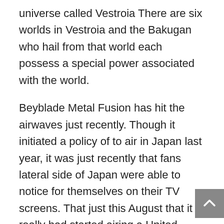universe called Vestroia There are six worlds in Vestroia and the Bakugan who hail from that world each possess a special power associated with the world.
Beyblade Metal Fusion has hit the airwaves just recently. Though it initiated a policy of to air in Japan last year, it was just recently that fans lateral side of Japan were able to notice for themselves on their TV screens. That just this August that it really had started airing a United Kingdom and holland. But even animes online shown locally in other countries, other fans from around entire world are still great supporters of the show. And that they can absolutely join in